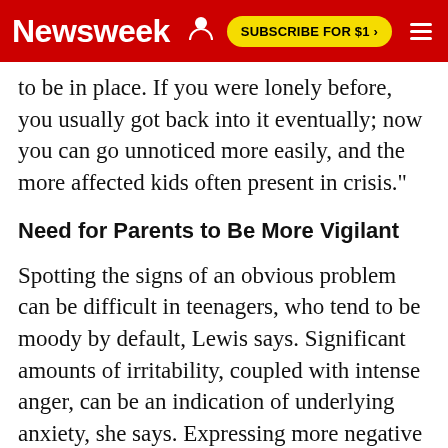Newsweek | SUBSCRIBE FOR $1 >
to be in place. If you were lonely before, you usually got back into it eventually; now you can go unnoticed more easily, and the more affected kids often present in crisis."
Need for Parents to Be More Vigilant
Spotting the signs of an obvious problem can be difficult in teenagers, who tend to be moody by default, Lewis says. Significant amounts of irritability, coupled with intense anger, can be an indication of underlying anxiety, she says. Expressing more negative thinking around